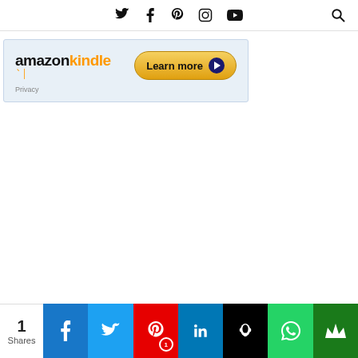Social media navigation icons: Twitter, Facebook, Pinterest, Instagram, YouTube, Search
[Figure (screenshot): Amazon Kindle advertisement banner with logo and 'Learn more' button, Privacy label below]
[Figure (infographic): Social share bar at bottom: 1 Share count, Facebook, Twitter, Pinterest (1), LinkedIn, Hootsuite, WhatsApp, Crown icons]